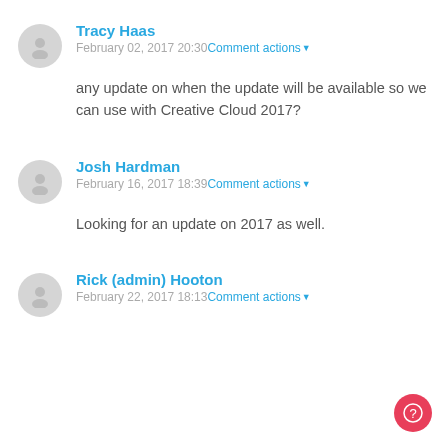Tracy Haas
February 02, 2017 20:30 Comment actions▼
any update on when the update will be available so we can use with Creative Cloud 2017?
Josh Hardman
February 16, 2017 18:39 Comment actions▼
Looking for an update on 2017 as well.
Rick (admin) Hooton
February 22, 2017 18:13 Comment actions▼